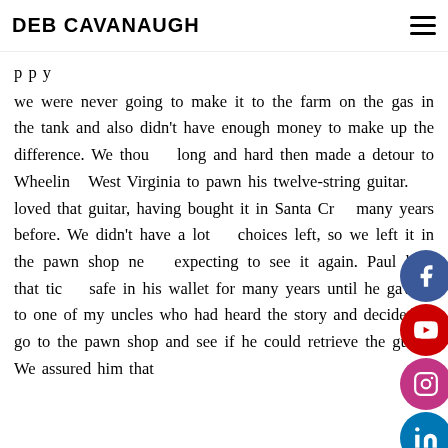DEB CAVANAUGH
we were never going to make it to the farm on the gas in the tank and also didn't have enough money to make up the difference. We thought long and hard then made a detour to Wheeling, West Virginia to pawn his twelve-string guitar. He loved that guitar, having bought it in Santa Cruz many years before. We didn't have a lot of choices left, so we left it in the pawn shop not expecting to see it again. Paul kept that ticket safe in his wallet for many years until he gave it to one of my uncles who had heard the story and decided to go to the pawn shop and see if he could retrieve the guitar. We assured him that